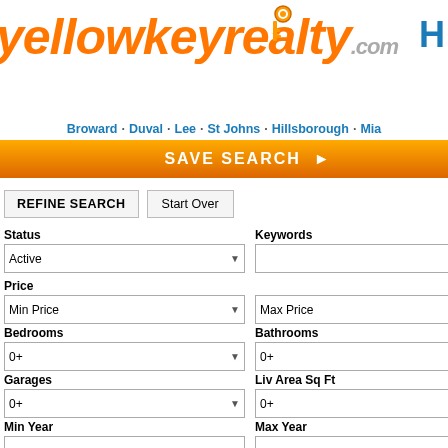[Figure (logo): yellowkeyrealty.com logo in orange italic text with key graphic]
Broward · Duval · Lee · St Johns · Hillsborough · Mia...
SAVE SEARCH ▶
REFINE SEARCH  Start Over
Status: Active | Keywords | Price: Min Price / Max Price | Bedrooms: 0+ | Bathrooms: 0+ | Garages: 0+ | Liv Area Sq Ft: 0+ | Min Year | Max Year | Property Types: All Property Types
BUY  RENT  Fort Myers, 33908
[Figure (screenshot): Tally advertisement: Get out of credit card debt faster with Tally. Download Now button. Tally Technologies, Inc. NMLS #1492782 fine print.]
1 2 3 4 5 6 7 ▶